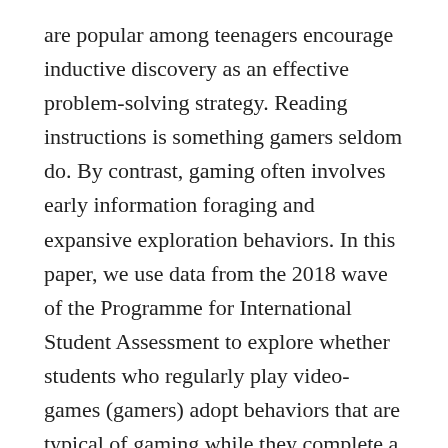are popular among teenagers encourage inductive discovery as an effective problem-solving strategy. Reading instructions is something gamers seldom do. By contrast, gaming often involves early information foraging and expansive exploration behaviors. In this paper, we use data from the 2018 wave of the Programme for International Student Assessment to explore whether students who regularly play video-games (gamers) adopt behaviors that are typical of gaming while they complete a computer-based assessment of science. The assessment included interactive items designed to identify procedural science knowledge as well as static items designed to identify science content knowledge. We find that gamers do not differ from